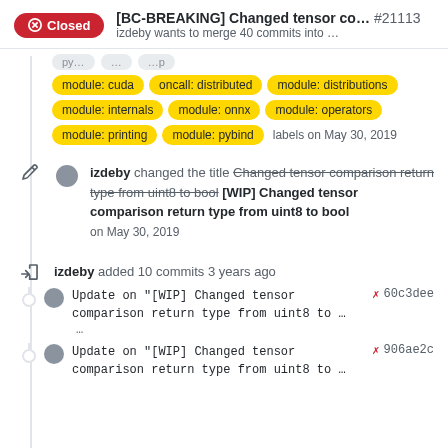[BC-BREAKING] Changed tensor co... #21113
izdeby wants to merge 40 commits into ...
module: cuda  oncall: distributed  module: distributions  module: internals  module: onnx  module: operators  module: printing  module: pybind  labels on May 30, 2019
izdeby changed the title Changed tensor comparison return type from uint8 to bool [WIP] Changed tensor comparison return type from uint8 to bool on May 30, 2019
izdeby added 10 commits 3 years ago
Update on "[WIP] Changed tensor comparison return type from uint8 to … ...  ✗ 60c3dee
Update on "[WIP] Changed tensor comparison return type from uint8 to …  ✗ 906ae2c